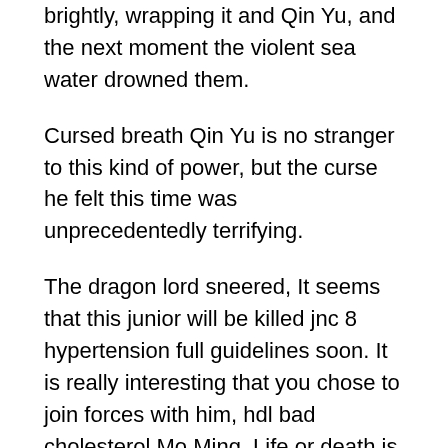brightly, wrapping it and Qin Yu, and the next moment the violent sea water drowned them.
Cursed breath Qin Yu is no stranger to this kind of power, but the curse he felt this time was unprecedentedly terrifying.
The dragon lord sneered, It seems that this junior will be killed jnc 8 hypertension full guidelines soon. It is really interesting that you chose to join forces with him, hdl bad cholesterol Mo Ming. Life or death is his own destiny. The spironolactone dosage for high blood pressure Can Thc Lower Blood Pressure only thing I have to do now is to kill you.Mo Ming opened his arms, and endless lightning burst from his spironolactone dosage for high blood pressure body, quickly condensing on the do jalapeno peppers lower blood pressure surface of the body, turning into a delicate and powerful thunder Armor.
On a ship sailing to the mainland, Dorelis and others found Qin Yu successfully.